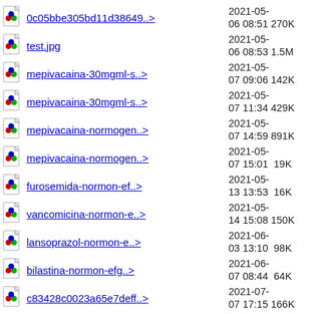0c05bbe305bd11d38649..>  2021-05-06 08:51  270K
test.jpg  2021-05-06 08:53  1.5M
mepivacaina-30mgml-s..>  2021-05-07 09:06  142K
mepivacaina-30mgml-s..>  2021-05-07 11:34  429K
mepivacaina-normogen..>  2021-05-07 14:59  891K
mepivacaina-normogen..>  2021-05-07 15:01   19K
furosemida-normon-ef..>  2021-05-13 13:53   16K
vancomicina-normon-e..>  2021-05-14 15:08  150K
lansoprazol-normon-e..>  2021-06-03 13:10   98K
bilastina-normon-efg..>  2021-06-07 08:44   64K
c83428c0023a65e7deff..>  2021-07-07 17:15  166K